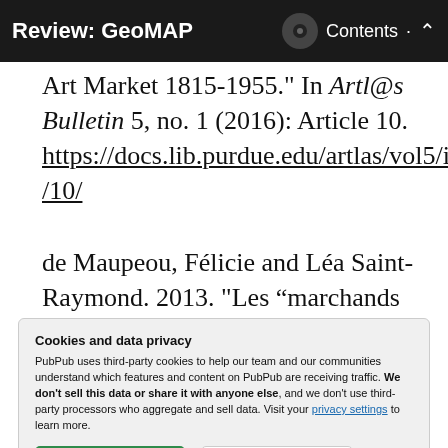Review: GeoMAP   Contents
Art Market 1815-1955." In Artl@s Bulletin 5, no. 1 (2016): Article 10. https://docs.lib.purdue.edu/artlas/vol5/iss1/10/
de Maupeou, Félicie and Léa Saint-Raymond. 2013. "Les “marchands de tableaux” dans le Bottin du commerce: une
Cookies and data privacy
PubPub uses third-party cookies to help our team and our communities understand which features and content on PubPub are receiving traffic. We don't sell this data or share it with anyone else, and we don't use third-party processors who aggregate and sell data. Visit your privacy settings to learn more.
//